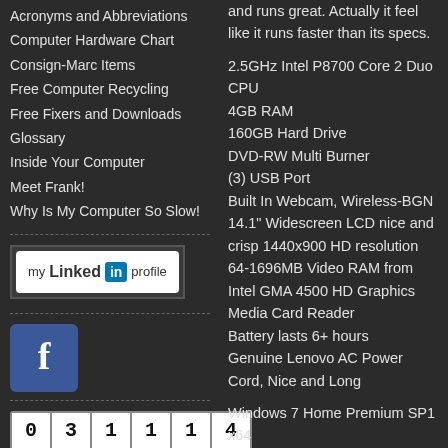Acronyms and Abbreviations
Computer Hardware Chart
Consign-Marc Items
Free Computer Recycling
Free Fixers and Downloads
Glossary
Inside Your Computer
Meet Frank!
Why Is My Computer So Slow!
[Figure (logo): LinkedIn 'my profile' badge with blue LinkedIn logo]
[Figure (logo): Facebook icon with white F on blue background]
[Figure (other): Unique counter showing 031114]
Unique Counter
and runs great. Actually it feel like it runs faster than its specs.
2.5GHz Intel P8700 Core 2 Duo CPU
4GB RAM
160GB Hard Drive
DVD-RW Multi Burner
(3) USB Port
Built In Webcam, Wireless-BGN
14.1" Widescreen LCD nice and crisp 1440x900 HD resolution
64-1696MB Video RAM from Intel GMA 4500 HD Graphics
Media Card Reader
Battery lasts 6+ hours
Genuine Lenovo AC Power Cord, Nice and Long
Windows 7 Home Premium SP1 x64
Internet Explorer, Firefox